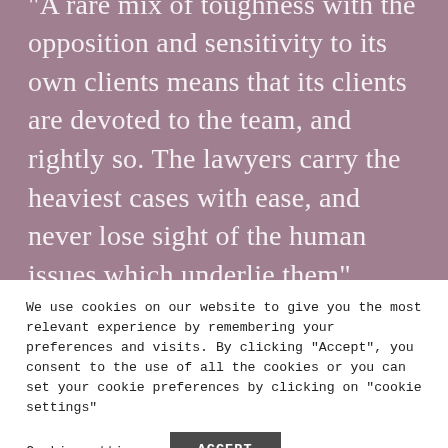“A rare mix of toughness with the opposition and sensitivity to its own clients means that its clients are devoted to the team, and rightly so. The lawyers carry the heaviest cases with ease, and never lose sight of the human issues which underlie them”
We use cookies on our website to give you the most relevant experience by remembering your preferences and visits. By clicking “Accept”, you consent to the use of all the cookies or you can set your cookie preferences by clicking on "cookie settings"
Cookie settings
ACCEPT